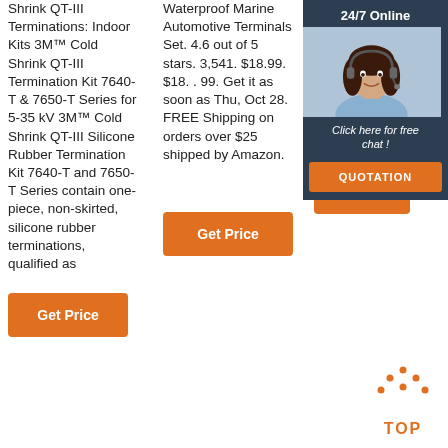Shrink QT-III Terminations: Indoor Kits 3M™ Cold Shrink QT-III Termination Kit 7640-T & 7650-T Series for 5-35 kV 3M™ Cold Shrink QT-III Silicone Rubber Termination Kit 7640-T and 7650-T Series contain one-piece, non-skirted, silicone rubber terminations, qualified as
[Figure (other): Orange 'Get Price' button]
Waterproof Marine Automotive Terminals Set. 4.6 out of 5 stars. 3,541. $18.99. $18. . 99. Get it as soon as Thu, Oct 28. FREE Shipping on orders over $25 shipped by Amazon.
[Figure (other): Orange 'Get Price' button]
Connectors - Butt, Ring, Spade, Quick Disconnect - Crimp Terminals Cable Lugs Assort... Wire C... $23.99
[Figure (other): Orange 'Get' button]
[Figure (infographic): 24/7 Online chat widget with woman in headset, 'Click here for free chat!' text, and QUOTATION button]
[Figure (other): TOP navigation button with orange dots and TOP label]